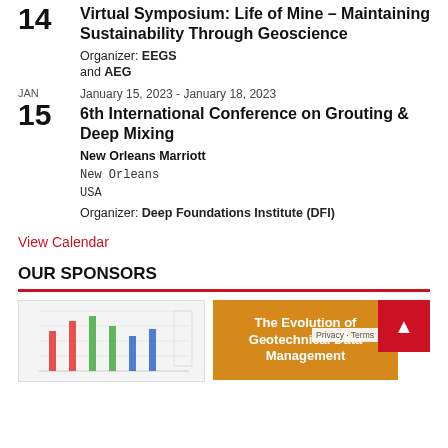14 Virtual Symposium: Life of Mine – Maintaining Sustainability Through Geoscience
Organizer: EEGS
and AEG
JAN 15 January 15, 2023 - January 18, 2023
6th International Conference on Grouting & Deep Mixing
New Orleans Marriott
New Orleans
USA
Organizer: Deep Foundations Institute (DFI)
View Calendar
OUR SPONSORS
[Figure (screenshot): Sponsor image showing a chart with colored vertical bars (red, green, blue)]
[Figure (illustration): Sponsor banner with orange background reading: The Evolution of Geotechnical Data Management]